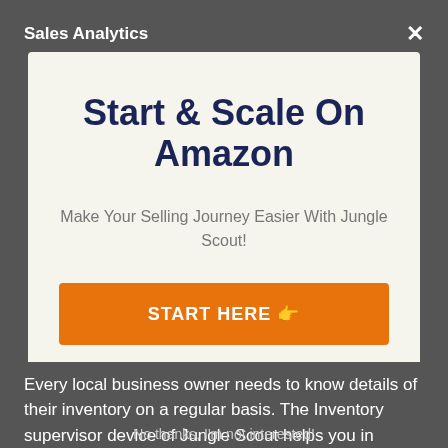Sales Analytics
Start & Scale On Amazon
Make Your Selling Journey Easier With Jungle Scout!
START HERE 👉
Every local business owner needs to know details of their inventory on a regular basis. The Inventory supervisor device of Jungle Scout helps you in
No thanks, I'm not interested!